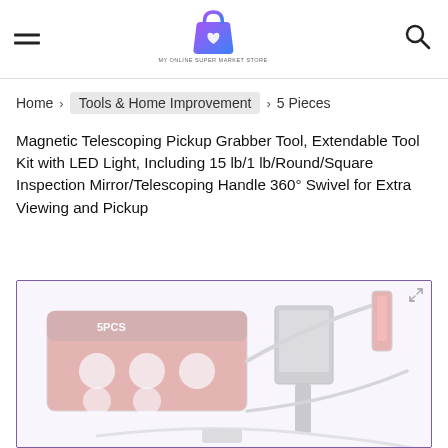MY ONLINE SUPER MARKET STORE — Home > Tools & Home Improvement > 5 Pieces
Home > Tools & Home Improvement > 5 Pieces
Magnetic Telescoping Pickup Grabber Tool, Extendable Tool Kit with LED Light, Including 15 lb/1 lb/Round/Square Inspection Mirror/Telescoping Handle 360° Swivel for Extra Viewing and Pickup
[Figure (photo): Product photo showing a 5-piece magnetic telescoping pickup grabber tool kit in packaging alongside the individual tools including inspection mirrors and flexible grabbers, on a white/light purple background]